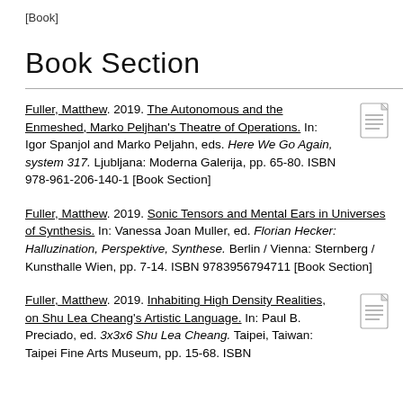[Book]
Book Section
Fuller, Matthew. 2019. The Autonomous and the Enmeshed, Marko Peljhan's Theatre of Operations. In: Igor Spanjol and Marko Peljahn, eds. Here We Go Again, system 317. Ljubljana: Moderna Galerija, pp. 65-80. ISBN 978-961-206-140-1 [Book Section]
Fuller, Matthew. 2019. Sonic Tensors and Mental Ears in Universes of Synthesis. In: Vanessa Joan Muller, ed. Florian Hecker: Halluzination, Perspektive, Synthese. Berlin / Vienna: Sternberg / Kunsthalle Wien, pp. 7-14. ISBN 9783956794711 [Book Section]
Fuller, Matthew. 2019. Inhabiting High Density Realities, on Shu Lea Cheang's Artistic Language. In: Paul B. Preciado, ed. 3x3x6 Shu Lea Cheang. Taipei, Taiwan: Taipei Fine Arts Museum, pp. 15-68. ISBN